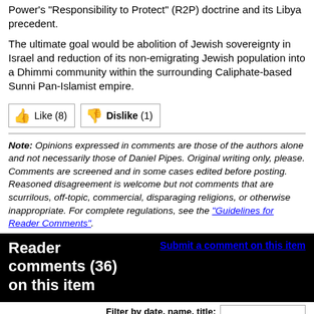Power's "Responsibility to Protect" (R2P) doctrine and its Libya precedent.
The ultimate goal would be abolition of Jewish sovereignty in Israel and reduction of its non-emigrating Jewish population into a Dhimmi community within the surrounding Caliphate-based Sunni Pan-Islamist empire.
Like (8)  Dislike (1)
Note: Opinions expressed in comments are those of the authors alone and not necessarily those of Daniel Pipes. Original writing only, please. Comments are screened and in some cases edited before posting. Reasoned disagreement is welcome but not comments that are scurrilous, off-topic, commercial, disparaging religions, or otherwise inappropriate. For complete regulations, see the "Guidelines for Reader Comments".
Reader comments (36) on this item
Submit a comment on this item
Filter by date, name, title: